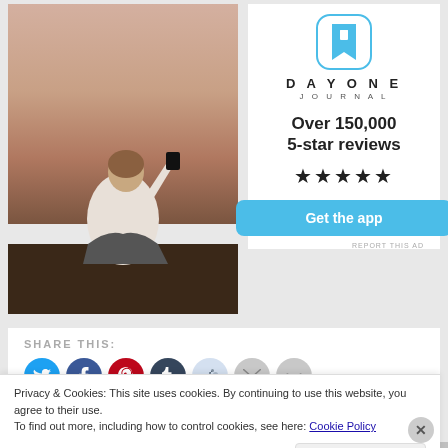[Figure (photo): Person sitting on rocks from behind, holding up a phone/camera toward a sunset sky]
[Figure (logo): Day One Journal app logo - blue bookmark icon, DAYONE JOURNAL wordmark, review count 'Over 150,000 5-star reviews', five stars, 'Get the app' button]
SHARE THIS:
Privacy & Cookies: This site uses cookies. By continuing to use this website, you agree to their use.
To find out more, including how to control cookies, see here: Cookie Policy